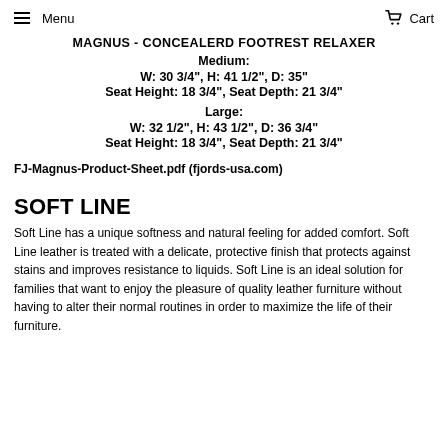Menu  Cart
MAGNUS - CONCEALERD FOOTREST RELAXER
Medium:
W: 30 3/4", H: 41 1/2", D: 35"
Seat Height: 18 3/4", Seat Depth: 21 3/4"
Large:
W: 32 1/2", H: 43 1/2", D: 36 3/4"
Seat Height: 18 3/4", Seat Depth: 21 3/4"
FJ-Magnus-Product-Sheet.pdf (fjords-usa.com)
SOFT LINE
Soft Line has a unique softness and natural feeling for added comfort. Soft Line leather is treated with a delicate, protective finish that protects against stains and improves resistance to liquids. Soft Line is an ideal solution for families that want to enjoy the pleasure of quality leather furniture without having to alter their normal routines in order to maximize the life of their furniture.